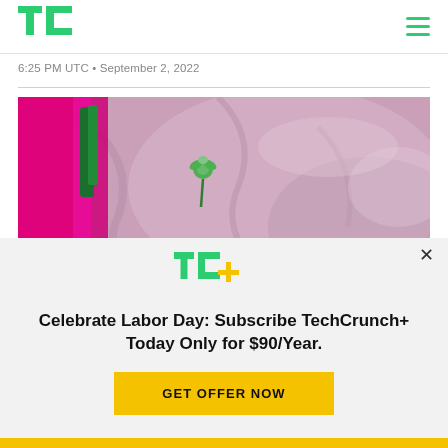TechCrunch logo and navigation
6:25 PM UTC • September 2, 2022
[Figure (photo): Close-up photo of crumpled purple/pink fabric with a green flower/rose and colorful fabric pieces]
[Figure (logo): TechCrunch TC+ logo in green]
Celebrate Labor Day: Subscribe TechCrunch+ Today Only for $90/Year.
GET OFFER NOW